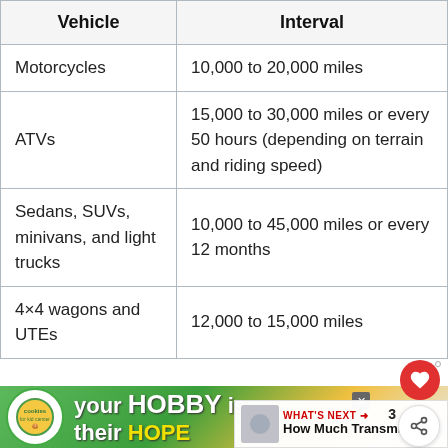| Vehicle | Interval |
| --- | --- |
| Motorcycles | 10,000 to 20,000 miles |
| ATVs | 15,000 to 30,000 miles or every 50 hours (depending on terrain and riding speed) |
| Sedans, SUVs, minivans, and light trucks | 10,000 to 45,000 miles or every 12 months |
| 4×4 wagons and UTEs | 12,000 to 15,000 miles |